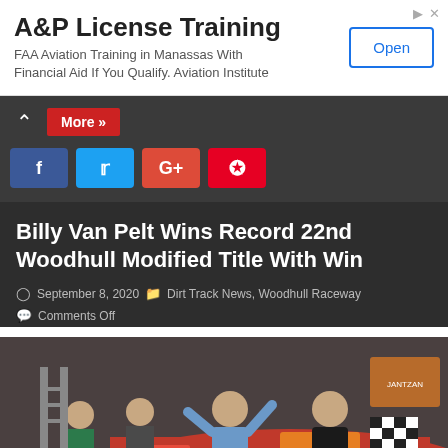[Figure (advertisement): A&P License Training ad banner with Open button. FAA Aviation Training in Manassas With Financial Aid If You Qualify. Aviation Institute]
More »
[Figure (infographic): Social sharing buttons: Facebook (f), Twitter (bird), Google+ (G+), Pinterest (P)]
Billy Van Pelt Wins Record 22nd Woodhull Modified Title With Win
September 8, 2020   Dirt Track News, Woodhull Raceway  Comments Off
[Figure (photo): Victory lane photo showing two men celebrating, one in blue sweatshirt raising arms, one in racing suit holding checkered flag, in front of a red modified race car with Mullen Carpet sponsorship.]